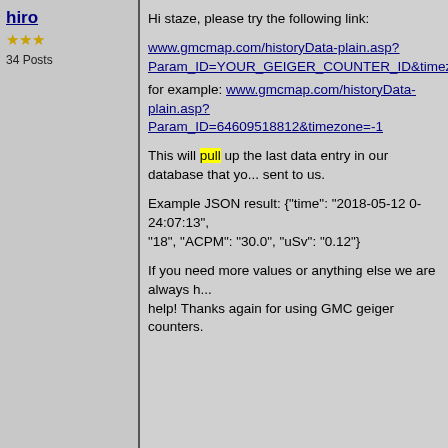hiro
34 Posts
Hi staze, please try the following link:

www.gmcmap.com/historyData-plain.asp?Param_ID=YOUR_GEIGER_COUNTER_ID&timezone=T
for example: www.gmcmap.com/historyData-plain.asp?Param_ID=64609518812&timezone=-1

This will pull up the last data entry in our database that you sent to us.

Example JSON result: {"time": "2018-05-12 0-24:07:13", "18", "ACPM": "30.0", "uSv": "0.12"}

If you need more values or anything else we are always h... help! Thanks again for using GMC geiger counters.
Reply #6
staze
USA
16 Posts
Posted - 03/27/2019 : 18:04:17
Hi @hiro,

That's great! Thanks!!!
Topic
New Jump To: Select Forum
Topic